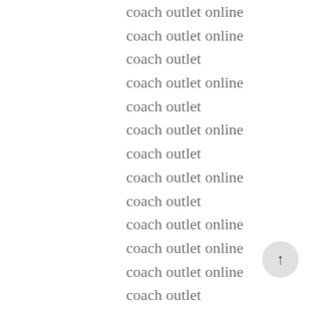coach outlet online
coach outlet online
coach outlet
coach outlet online
coach outlet
coach outlet online
coach outlet
coach outlet online
coach outlet
coach outlet online
coach outlet online
coach outlet online
coach outlet
coach outlet
coach outlet
coach outlet online
coach outlet
coach outlet store